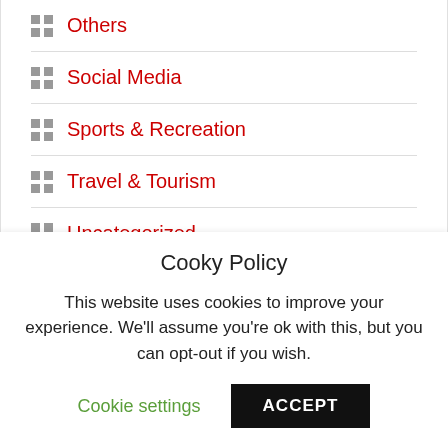Others
Social Media
Sports & Recreation
Travel & Tourism
Uncategorized
Cooky Policy
This website uses cookies to improve your experience. We'll assume you're ok with this, but you can opt-out if you wish.
Cookie settings  ACCEPT